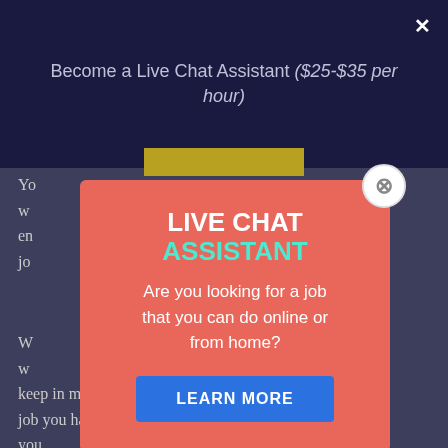Become a Live Chat Assistant ($25-$35 per hour)
Yo... w... en... jo...
[Figure (screenshot): Popup modal overlay with salmon/coral background. Title reads 'LIVE CHAT ASSISTANT' with 'LIVE CHAT' in white bold and 'ASSISTANT' in cyan/teal. Subtitle: 'Are you looking for a job that you can do online or from home?' with a blue 'LEARN MORE' button. Close button (circle with X) in top-right corner.]
W... w... keep in mind that when you work for an online job you have more options readily available to you.